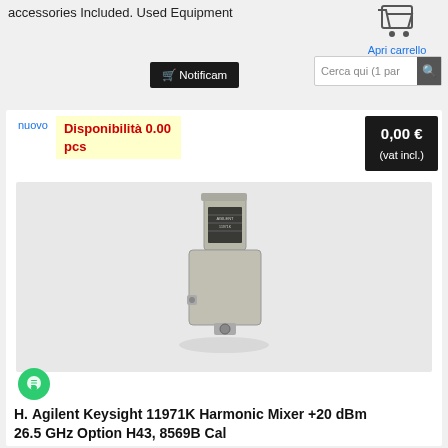accessories Included. Used Equipment
Apri carrello
Notificam
Cerca qui (1 par
nuovo
Disponibilità 0.00 pcs
0,00 €
(vat incl.)
[Figure (photo): Photo of Agilent Keysight 11971K Harmonic Mixer device, a silver/gray metal instrument with connectors]
H. Agilent Keysight 11971K Harmonic Mixer +20 dBm 26.5 GHz Option H43, 8569B Cal